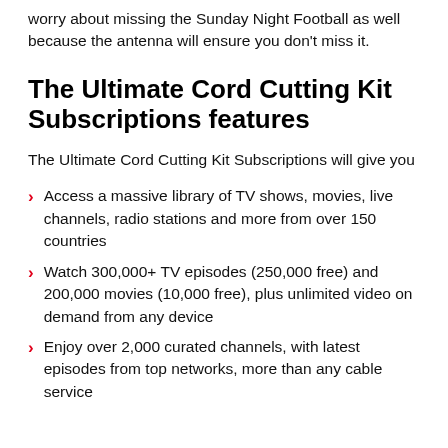worry about missing the Sunday Night Football as well because the antenna will ensure you don't miss it.
The Ultimate Cord Cutting Kit Subscriptions features
The Ultimate Cord Cutting Kit Subscriptions will give you
Access a massive library of TV shows, movies, live channels, radio stations and more from over 150 countries
Watch 300,000+ TV episodes (250,000 free) and 200,000 movies (10,000 free), plus unlimited video on demand from any device
Enjoy over 2,000 curated channels, with latest episodes from top networks, more than any cable service